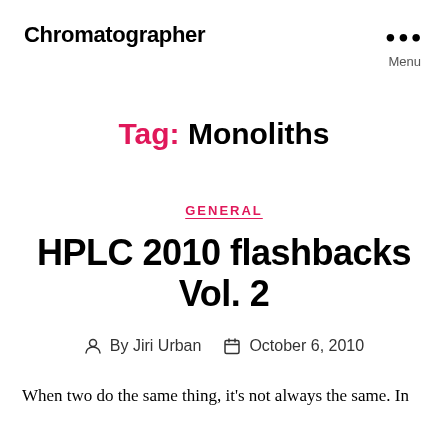Chromatographer
Tag: Monoliths
GENERAL
HPLC 2010 flashbacks Vol. 2
By Jiri Urban   October 6, 2010
When two do the same thing, it's not always the same. In